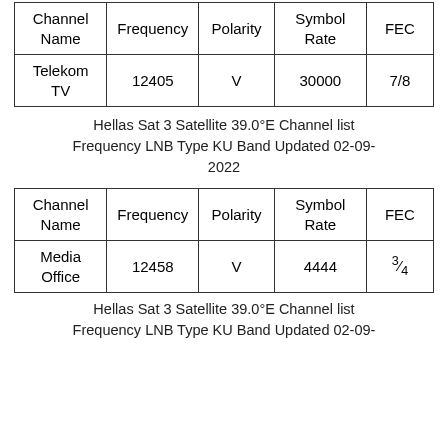| Channel Name | Frequency | Polarity | Symbol Rate | FEC |
| --- | --- | --- | --- | --- |
| Telekom TV | 12405 | V | 30000 | 7/8 |
Hellas Sat 3 Satellite 39.0°E Channel list Frequency LNB Type KU Band Updated 02-09-2022
| Channel Name | Frequency | Polarity | Symbol Rate | FEC |
| --- | --- | --- | --- | --- |
| Media Office | 12458 | V | 4444 | ¾ |
Hellas Sat 3 Satellite 39.0°E Channel list Frequency LNB Type KU Band Updated 02-09-